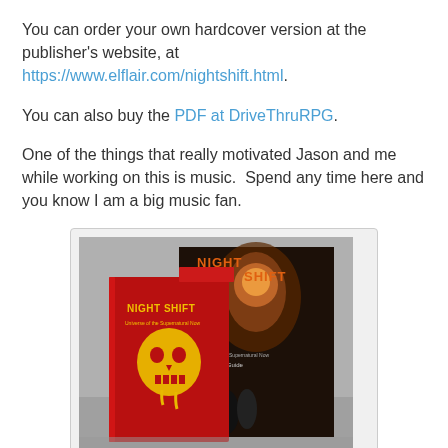You can order your own hardcover version at the publisher's website, at https://www.elflair.com/nightshift.html.
You can also buy the PDF at DriveThruRPG.
One of the things that really motivated Jason and me while working on this is music.  Spend any time here and you know I am a big music fan.
[Figure (photo): Photo of two Night Shift RPG books: a red hardcover on the left with a yellow skull design, and the larger Night Shift Player's Guide on the right with a dark atmospheric cover showing figures.]